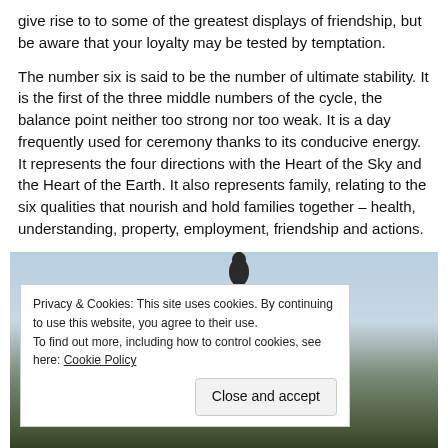give rise to to some of the greatest displays of friendship, but be aware that your loyalty may be tested by temptation.

The number six is said to be the number of ultimate stability. It is the first of the three middle numbers of the cycle, the balance point neither too strong nor too weak. It is a day frequently used for ceremony thanks to its conducive energy. It represents the four directions with the Heart of the Sky and the Heart of the Earth. It also represents family, relating to the six qualities that nourish and hold families together – health, understanding, property, employment, friendship and actions.
[Figure (photo): Outdoor photo showing a dark silhouette figure against a pale sky background, with green vegetation visible at bottom. A cookie consent banner overlays the lower portion of the image.]